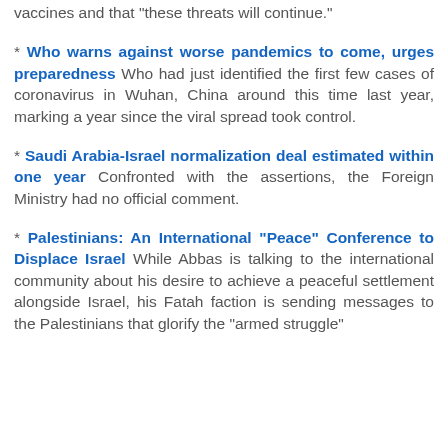vaccines and that "these threats will continue."
* Who warns against worse pandemics to come, urges preparedness Who had just identified the first few cases of coronavirus in Wuhan, China around this time last year, marking a year since the viral spread took control.
* Saudi Arabia-Israel normalization deal estimated within one year Confronted with the assertions, the Foreign Ministry had no official comment.
* Palestinians: An International "Peace" Conference to Displace Israel While Abbas is talking to the international community about his desire to achieve a peaceful settlement alongside Israel, his Fatah faction is sending messages to the Palestinians that glorify the "armed struggle"